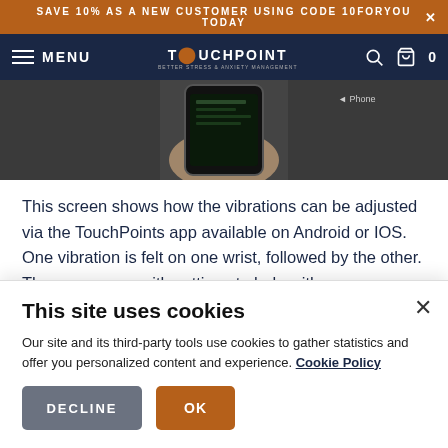SAVE 10% AS A NEW CUSTOMER USING CODE 10FORYOU TODAY ×
MENU | TOUCHPOINT | 🔍 🛍 0
[Figure (photo): Hand holding a smartphone showing the TouchPoints app screen]
This screen shows how the vibrations can be adjusted via the TouchPoints app available on Android or IOS. One vibration is felt on one wrist, followed by the other. The app comes with settings to help with sleeplessness, anxiety, lack of focus,
This site uses cookies

Our site and its third-party tools use cookies to gather statistics and offer you personalized content and experience. Cookie Policy

DECLINE   OK